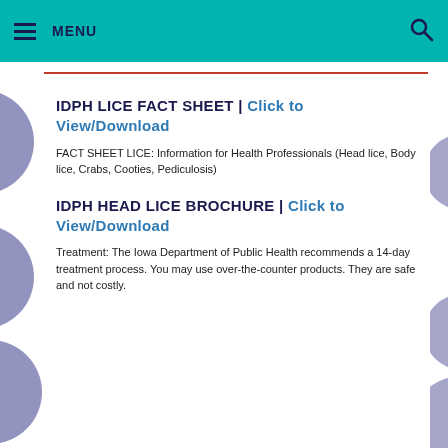MENU
IDPH LICE FACT SHEET | Click to View/Download
FACT SHEET LICE: Information for Health Professionals (Head lice, Body lice, Crabs, Cooties, Pediculosis)
IDPH HEAD LICE BROCHURE | Click to View/Download
Treatment: The Iowa Department of Public Health recommends a 14-day treatment process. You may use over-the-counter products. They are safe and not costly.